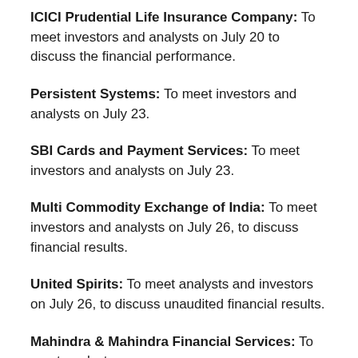ICICI Prudential Life Insurance Company: To meet investors and analysts on July 20 to discuss the financial performance.
Persistent Systems: To meet investors and analysts on July 23.
SBI Cards and Payment Services: To meet investors and analysts on July 23.
Multi Commodity Exchange of India: To meet investors and analysts on July 26, to discuss financial results.
United Spirits: To meet analysts and investors on July 26, to discuss unaudited financial results.
Mahindra & Mahindra Financial Services: To meet analysts